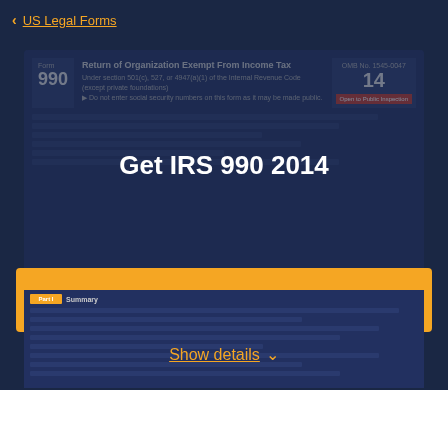US Legal Forms
[Figure (screenshot): IRS Form 990 2014 Return of Organization Exempt From Income Tax preview, shown with dark navy overlay and the text 'Get IRS 990 2014' overlaid in white bold text. Below is Part I Summary section of the form.]
Get IRS 990 2014
Get form
Show details